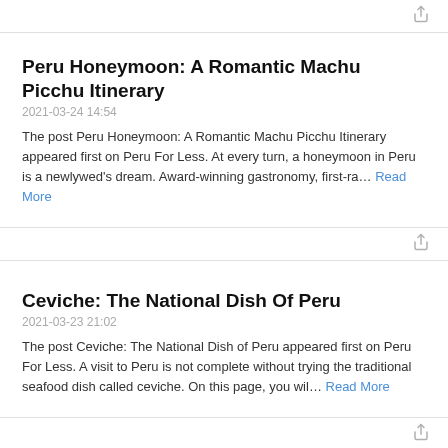[Figure (other): Share icon at top right]
Peru Honeymoon: A Romantic Machu Picchu Itinerary
2021-03-24 14:54
The post Peru Honeymoon: A Romantic Machu Picchu Itinerary appeared first on Peru For Less. At every turn, a honeymoon in Peru is a newlywed's dream. Award-winning gastronomy, first-ra… Read More
[Figure (other): Share icon]
Ceviche: The National Dish Of Peru
2021-03-23 21:02
The post Ceviche: The National Dish of Peru appeared first on Peru For Less. A visit to Peru is not complete without trying the traditional seafood dish called ceviche. On this page, you wil… Read More
[Figure (other): Share icon]
27 Best Treks In Peru: Hiking In The Andes And